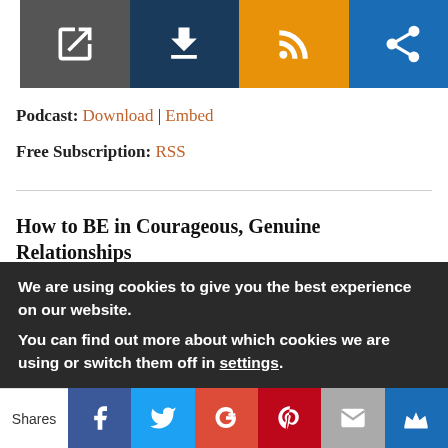[Figure (screenshot): Top navigation icon bar with four colored cells: dark gray (external link icon), navy blue (download icon), orange (RSS icon), blue (share icon)]
Podcast: Download | Embed
Free Subscription: RSS
How to BE in Courageous, Genuine Relationships
This podcast is Tony Mayo reading the bonus chapter to his Amazon #1 best-selling book, The Courage to be in Community.
We are using cookies to give you the best experience on our website.
You can find out more about which cookies we are using or switch them off in settings.
[Figure (screenshot): Bottom share bar with Shares label and social icons: Facebook, Twitter, Google+, Pinterest, Email, Crown/bookmark]